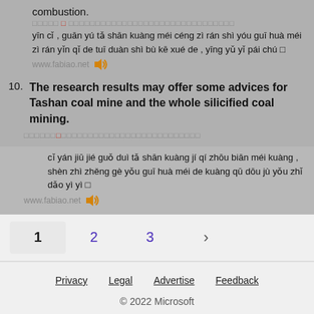combustion.
Chinese characters line (with red character)
yīn cǐ , guān yú tǎ shān kuàng méi céng zì rán shì yóu guī huà méi zì rán yǐn qǐ de tuī duàn shì bù kē xué de , yīng yǔ yǐ pái chú □
www.fabiao.net [speaker icon]
10. The research results may offer some advices for Tashan coal mine and the whole silicified coal mining.
Chinese characters line 10 (with red character)
cǐ yán jiū jié guǒ duì tǎ shān kuàng jí qí zhōu biān méi kuàng , shèn zhì zhěng gè yǒu guī huà méi de kuàng qū dōu jù yǒu zhǐ dǎo yì yì □
www.fabiao.net [speaker icon]
1  2  3  >
Privacy  Legal  Advertise  Feedback  © 2022 Microsoft